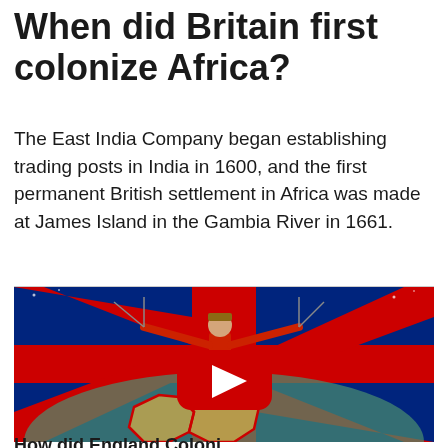When did Britain first colonize Africa?
The East India Company began establishing trading posts in India in 1600, and the first permanent British settlement in Africa was made at James Island in the Gambia River in 1661.
[Figure (screenshot): Illustration of a British soldier in red uniform with arms outstretched, superimposed over a Union Jack flag and a globe/map of Africa. A YouTube play button is visible in the center of the image.]
How did England Colonize...